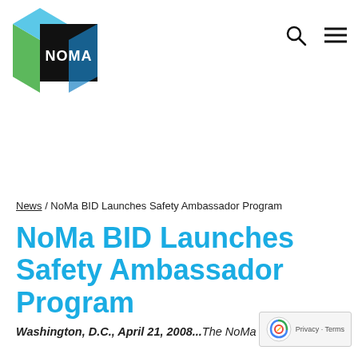[Figure (logo): NoMa BID logo — geometric 3D box shape in cyan/blue and green with black face showing 'NOMA' in white sans-serif text]
[Figure (other): Navigation icons: search (magnifying glass) and hamburger menu (three horizontal lines)]
News / NoMa BID Launches Safety Ambassador Program
NoMa BID Launches Safety Ambassador Program
Washington, D.C., April 21, 2008...The NoMa Bus...